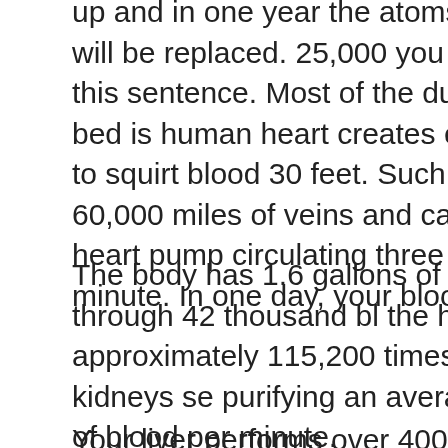up and in one year the atoms in your body will be replaced. 25,000 you were reading this sentence. Most of the dust under your bed is human heart creates enough pressure to squirt blood 30 feet. Such blood through 60,000 miles of veins and capillaries. The heart pump circulating three times every minute. In one day, your blood travels a
The body has 1.6 gallons of blood coursing through 42 thousand bl the heart beats approximately 115,200 times a day. The kidneys se purifying an average of 2.2 pints of blood per minute.
Your liver performs over 400 functions, including detoxification, prot production of biochemicals necessary for digestion.
In a lifetime the body produces over 6,000 gallons of saliva, enough pools.
Nearly 28 feet of intestines are packed neatly inside your belly. The plant far more intricate than any plant that man has ever built. This eat into various components causing the growth of flesh, blood, bor the body when parts are damaged by accident or disease. The food into energy for work and play.
The chemicals are so powerful that if a bit of stomach acid were spi would burn a hole in it, yet it resided in the stomach. Your stomach